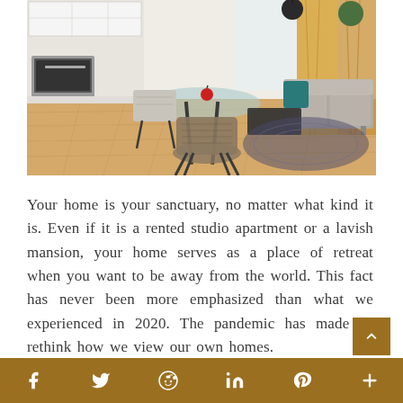[Figure (photo): Interior photo of a modern apartment showing a dining area with glass table and wicker chairs in the foreground, an open kitchen with white cabinets and oven on the left, and a living room with a grey sofa, coffee table, patterned rug, and golden curtains by large windows in the background.]
Your home is your sanctuary, no matter what kind it is. Even if it is a rented studio apartment or a lavish mansion, your home serves as a place of retreat when you want to be away from the world. This fact has never been more emphasized than what we experienced in 2020. The pandemic has made us rethink how we view our own homes.